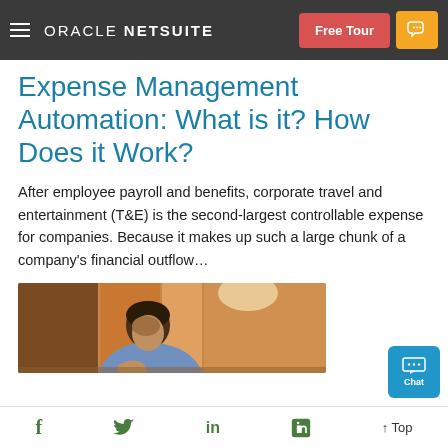ORACLE NETSUITE — Free Tour
Expense Management Automation: What is it? How Does it Work?
After employee payroll and benefits, corporate travel and entertainment (T&E) is the second-largest controllable expense for companies. Because it makes up such a large chunk of a company's financial outflow…
[Figure (photo): A man in a blue shirt leaning over a desk, appearing to be working or stressed, with a warm wooden background and soft lighting.]
f  Twitter  in  Flipboard  ↑ Top